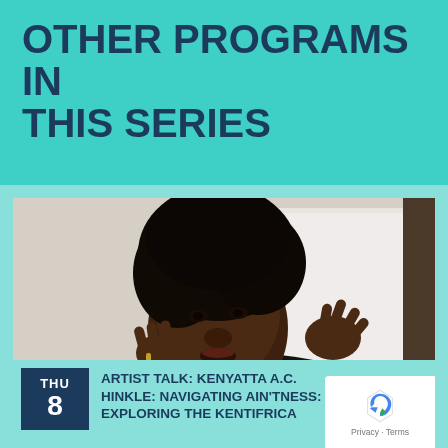OTHER PROGRAMS IN THIS SERIES
[Figure (photo): A Black woman with natural afro hair speaking at a microphone, gesturing with both hands raised near her face, in an indoor setting with a white screen in the background.]
THU 8
ARTIST TALK: KENYATTA A.C. HINKLE: NAVIGATING AIN'TNESS: EXPLORING THE KENTIFRICA...